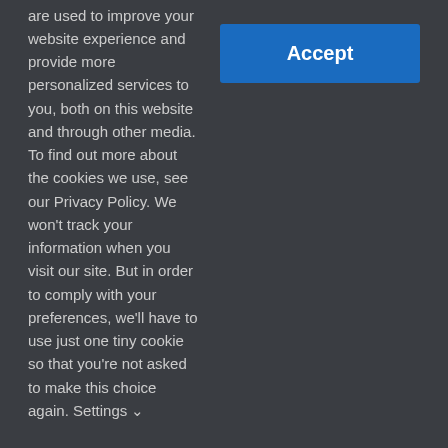Emerging ministry
Deacon Mike Cullen, who serves the cluster parishes of St. Joseph, Barron; St. Boniface, Chetek; St. Peter, Cameron; and Assumption of the Blessed Virgin Mary, Strickland; is trying to do just that.
This website stores cookies on your computer. These cookies are used to improve your website experience and provide more personalized services to you, both on this website and through other media. To find out more about the cookies we use, see our Privacy Policy. We won't track your information when you visit our site. But in order to comply with your preferences, we'll have to use just one tiny cookie so that you're not asked to make this choice again. Settings
Accept